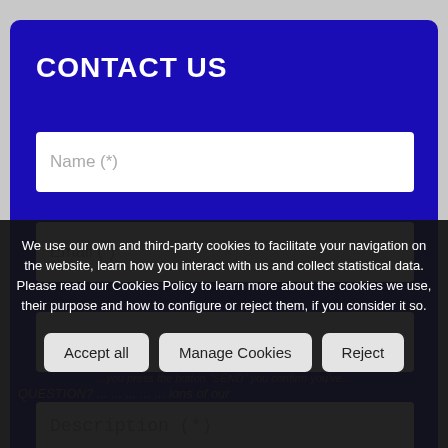CONTACT US
Name (*)
Email (*)
Telephone
Description (*)
We use our own and third-party cookies to facilitate your navigation on the website, learn how you interact with us and collect statistical data. Please read our Cookies Policy to learn more about the cookies we use, their purpose and how to configure or reject them, if you consider it so.
Accept all
Manage Cookies
Reject